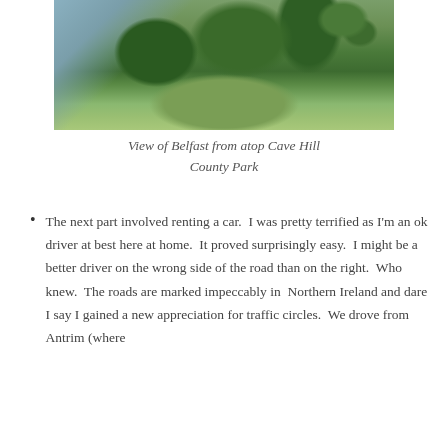[Figure (photo): Green hillside landscape with rolling mossy hills and a glimpse of a city in the background — Cave Hill County Park, Belfast]
View of Belfast from atop Cave Hill County Park
The next part involved renting a car.  I was pretty terrified as I'm an ok driver at best here at home.  It proved surprisingly easy.  I might be a better driver on the wrong side of the road than on the right.  Who knew.  The roads are marked impeccably in  Northern Ireland and dare I say I gained a new appreciation for traffic circles.  We drove from Antrim (where